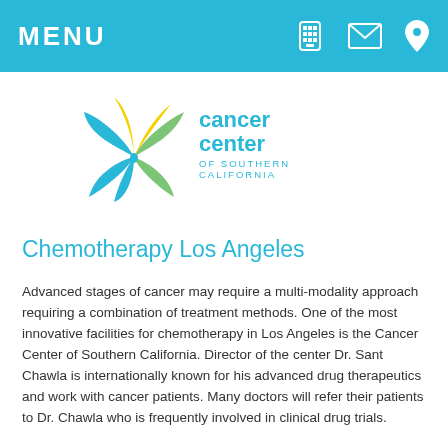MENU
[Figure (logo): Cancer Center of Southern California logo — stylized palm frond in teal, yellow, and green with text 'cancer center OF SOUTHERN CALIFORNIA' in teal]
Chemotherapy Los Angeles
Advanced stages of cancer may require a multi-modality approach requiring a combination of treatment methods. One of the most innovative facilities for chemotherapy in Los Angeles is the Cancer Center of Southern California. Director of the center Dr. Sant Chawla is internationally known for his advanced drug therapeutics and work with cancer patients. Many doctors will refer their patients to Dr. Chawla who is frequently involved in clinical drug trials.